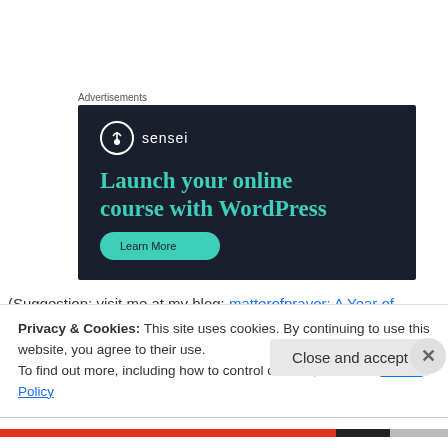Advertisements
[Figure (screenshot): Sensei advertisement: dark navy background with Sensei logo (tree icon in circle), text 'Launch your online course with WordPress' in teal/green serif font, and a teal button partially visible at the bottom.]
(Suggestion: visit me at my blog: matterofprayer: A Year of
Privacy & Cookies: This site uses cookies. By continuing to use this website, you agree to their use.
To find out more, including how to control cookies, see here: Cookie Policy
Close and accept